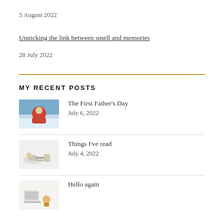5 August 2022
Unpicking the link between smell and memories
28 July 2022
MY RECENT POSTS
[Figure (photo): Thumbnail photo of a person outdoors wearing a red jacket and sunglasses]
The First Father's Day
July 6, 2022
[Figure (photo): Small thumbnail illustration of a person lying down reading]
Things I've read
July 4, 2022
[Figure (photo): Small thumbnail illustration related to Hello again post]
Hello again